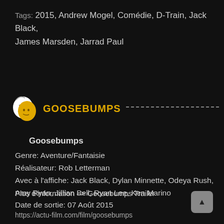Tags: 2015, Andrew Mogel, Comédie, D-Train, Jack Black, James Marsden, Jarrad Paul
GOOSEBUMPS
Goosebumps
Genre: Aventure/Fantaisie
Réalisateur: Rob Letterman
Avec à l'affiche: Jack Black, Dylan Minnette, Odeya Rush, Amy Ryan, Jillian Bell, Ryan Lee, Ken Marino
Date de sortie: 07 Août 2015
Plus d'information –> Goosebumps Trailer
https://actu-film.com/film/goosebumps